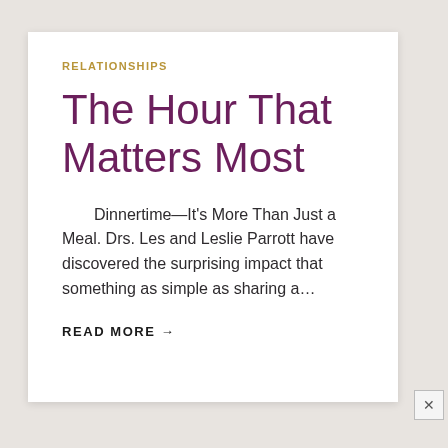RELATIONSHIPS
The Hour That Matters Most
Dinnertime—It's More Than Just a Meal. Drs. Les and Leslie Parrott have discovered the surprising impact that something as simple as sharing a…
READ MORE →